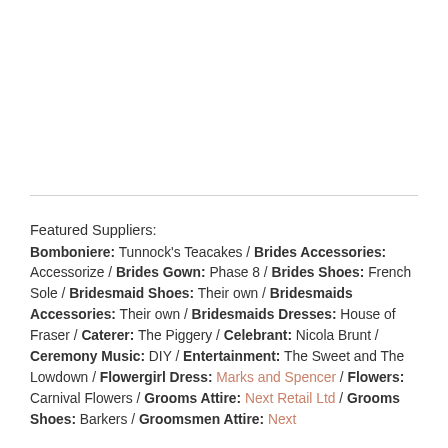[Figure (photo): White/blank top area of the page, likely a photo cropped out]
Featured Suppliers: Bomboniere: Tunnock's Teacakes / Brides Accessories: Accessorize / Brides Gown: Phase 8 / Brides Shoes: French Sole / Bridesmaid Shoes: Their own / Bridesmaids Accessories: Their own / Bridesmaids Dresses: House of Fraser / Caterer: The Piggery / Celebrant: Nicola Brunt / Ceremony Music: DIY / Entertainment: The Sweet and The Lowdown / Flowergirl Dress: Marks and Spencer / Flowers: Carnival Flowers / Grooms Attire: Next Retail Ltd / Grooms Shoes: Barkers / Groomsmen Attire: Next